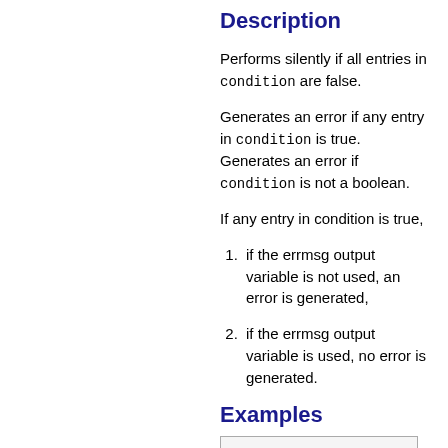Description
Performs silently if all entries in condition are false.
Generates an error if any entry in condition is true. Generates an error if condition is not a boolean.
If any entry in condition is true,
if the errmsg output variable is not used, an error is generated,
if the errmsg output variable is used, no error is generated.
Examples